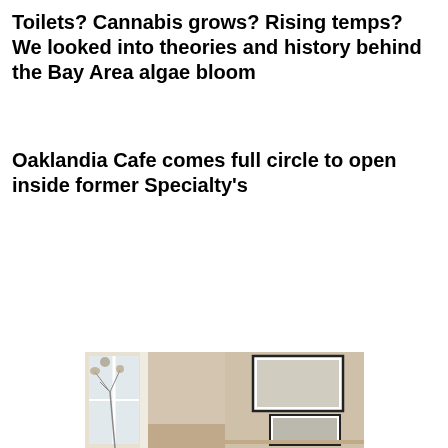Toilets? Cannabis grows? Rising temps? We looked into theories and history behind the Bay Area algae bloom
Oaklandia Cafe comes full circle to open inside former Specialty's
[Figure (infographic): Advertisement with text: A NEIGHBORHOOD for EVERY LIFESTYLE, with decorative italic red 'for' in center, bordered box above a photo of an interior room with framed art and dried flower arrangement]